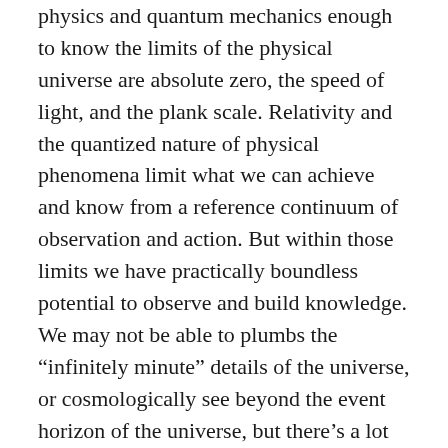physics and quantum mechanics enough to know the limits of the physical universe are absolute zero, the speed of light, and the plank scale. Relativity and the quantized nature of physical phenomena limit what we can achieve and know from a reference continuum of observation and action. But within those limits we have practically boundless potential to observe and build knowledge. We may not be able to plumbs the “infinitely minute” details of the universe, or cosmologically see beyond the event horizon of the universe, but there’s a lot of play between those bounds.
I like understanding how chemical reaction and interactivity work largely on very basic electrodynamic principles in combination